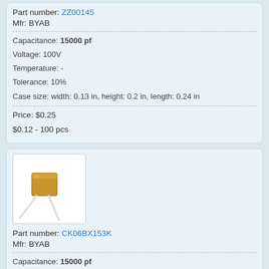Part number: ZZ00145
Mfr: BYAB
Capacitance: 15000 pf
Voltage: 100V
Temperature: -
Tolerance: 10%
Case size: width: 0.13 in, height: 0.2 in, length: 0.24 in
Price: $0.25
$0.12 - 100 pcs
[Figure (photo): Ceramic capacitor component with two leads, square golden-brown body, on white background]
Part number: CK06BX153K
Mfr: BYAB
Capacitance: 15000 pf
Voltage: 100V
Temperature: X7R
Tolerance: 10%